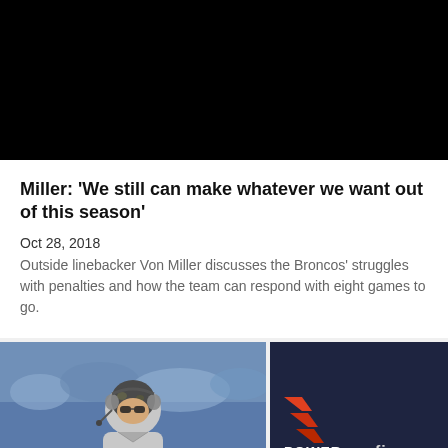[Figure (photo): Black video player area at top of article]
Miller: 'We still can make whatever we want out of this season'
Oct 28, 2018
Outside linebacker Von Miller discusses the Broncos' struggles with penalties and how the team can respond with eight games to go.
[Figure (photo): Coach wearing headset on field, blurred crowd background]
[Figure (photo): Dark background with POWER and xfi logos/branding]